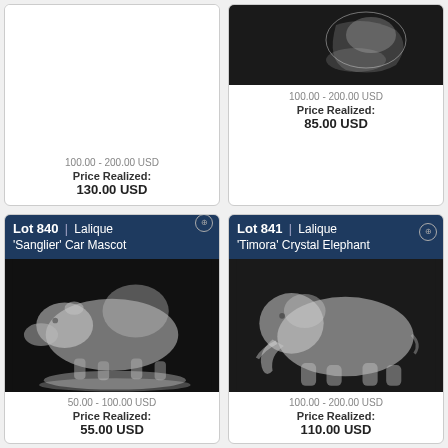100.00 - 200.00 USD
Price Realized:
130.00 USD
[Figure (photo): Lalique crystal figurine on dark background]
100.00 - 200.00 USD
Price Realized:
85.00 USD
Lot 840 | Lalique 'Sanglier' Car Mascot
[Figure (photo): Lalique 'Sanglier' frosted crystal boar car mascot on circular base, dark background]
50.00 - 100.00 USD
Price Realized:
55.00 USD
Lot 841 | Lalique 'Timora' Crystal Elephant
[Figure (photo): Lalique 'Timora' frosted crystal elephant figurine on dark background]
100.00 - 200.00 USD
Price Realized:
110.00 USD